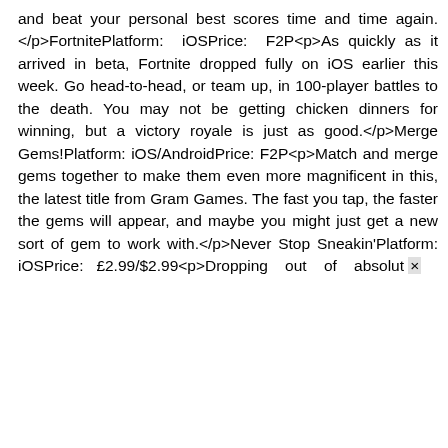and beat your personal best scores time and time again. </p>FortnitePlatform: iOSPrice: F2P<p>As quickly as it arrived in beta, Fortnite dropped fully on iOS earlier this week. Go head-to-head, or team up, in 100-player battles to the death. You may not be getting chicken dinners for winning, but a victory royale is just as good.</p>Merge Gems!Platform: iOS/AndroidPrice: F2P<p>Match and merge gems together to make them even more magnificent in this, the latest title from Gram Games. The fast you tap, the faster the gems will appear, and maybe you might just get a new sort of gem to work with.</p>Never Stop Sneakin'Platform: iOSPrice: £2.99/$2.99<p>Dropping out of absolut ×